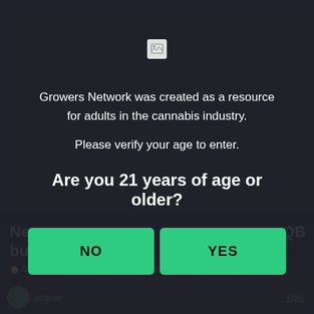[Figure (screenshot): Age verification modal overlay on a dark website background. Shows a logo icon, descriptive text about Growers Network, age verification question, and two green buttons for NO and YES responses. Background shows partially visible article content.]
Growers Network was created as a resource for adults in the cannabis industry.
Please verify your age to enter.
Are you 21 years of age or older?